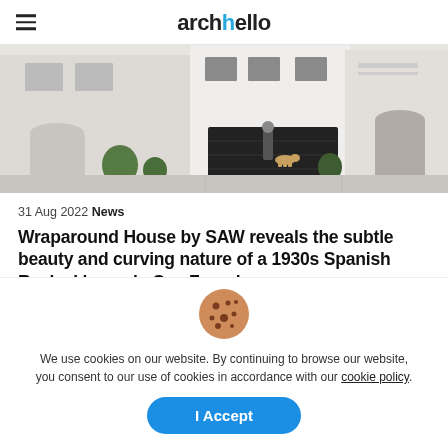archello
[Figure (photo): Exterior photo of a multi-story Spanish Revival home in San Francisco with white stucco walls, arched architectural details, dark garage door, planters, and a person walking a dog in front.]
31 Aug 2022 News
Wraparound House by SAW reveals the subtle beauty and curving nature of a 1930s Spanish Revival home in San Francisco
The Wraparound House...
We use cookies on our website. By continuing to browse our website, you consent to our use of cookies in accordance with our cookie policy.
I Accept